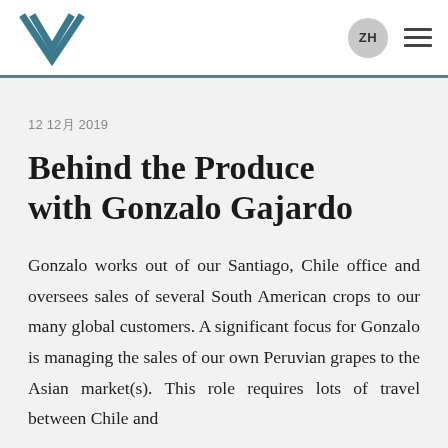ZH ≡
12 12月 2019
Behind the Produce with Gonzalo Gajardo
Gonzalo works out of our Santiago, Chile office and oversees sales of several South American crops to our many global customers. A significant focus for Gonzalo is managing the sales of our own Peruvian grapes to the Asian market(s). This role requires lots of travel between Chile and